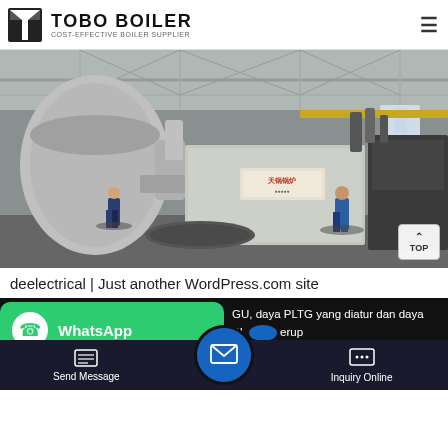TOBO BOILER — COST-EFFECTIVE BOILER SUPPLIER
[Figure (photo): Industrial boiler installation inside a large factory building. A large silver cylindrical boiler with ductwork is visible on the left, and a large rectangular metallic boiler unit with Chinese text signage in the center. Two workers are visible on the floor. Overhead crane structures and steel framework visible in the background.]
deelectrical | Just another WordPress.com site
GU, daya PLTG yang diatur dan daya PLT erup maa anah
Send Message   Inquiry Online